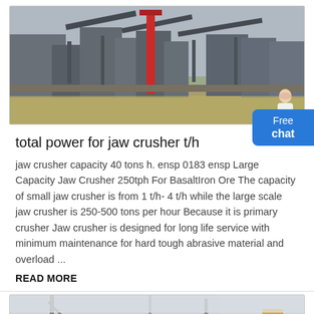[Figure (photo): Industrial jaw crusher / mining facility with heavy machinery, conveyor belts, and muddy water in foreground. Red crane visible in center.]
total power for jaw crusher t/h
jaw crusher capacity 40 tons h. ensp 0183 ensp Large Capacity Jaw Crusher 250tph For BasaltIron Ore The capacity of small jaw crusher is from 1 t/h- 4 t/h while the large scale jaw crusher is 250-500 tons per hour Because it is primary crusher Jaw crusher is designed for long life service with minimum maintenance for hard tough abrasive material and overload ...
READ MORE
[Figure (photo): Construction site or industrial yard with cranes and machinery, partially visible at bottom of page.]